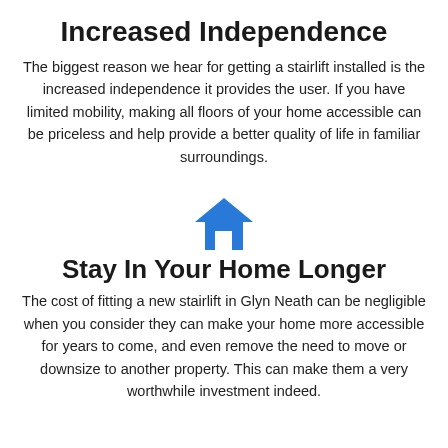Increased Independence
The biggest reason we hear for getting a stairlift installed is the increased independence it provides the user. If you have limited mobility, making all floors of your home accessible can be priceless and help provide a better quality of life in familiar surroundings.
[Figure (illustration): Blue house/home icon]
Stay In Your Home Longer
The cost of fitting a new stairlift in Glyn Neath can be negligible when you consider they can make your home more accessible for years to come, and even remove the need to move or downsize to another property. This can make them a very worthwhile investment indeed.